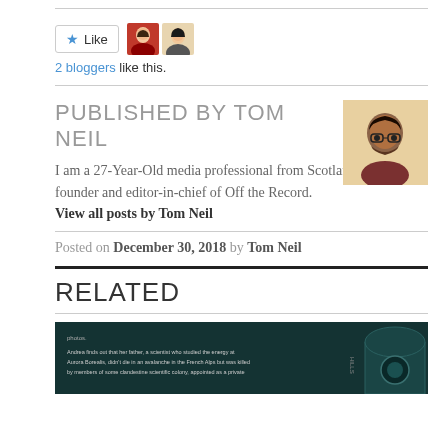[Figure (illustration): Like button with star icon and two blogger avatar photos]
2 bloggers like this.
PUBLISHED BY TOM NEIL
[Figure (photo): Author photo of Tom Neil, a man with glasses and beard]
I am a 27-Year-Old media professional from Scotland. I am the founder and editor-in-chief of Off the Record. View all posts by Tom Neil
Posted on December 30, 2018 by Tom Neil
RELATED
[Figure (photo): Dark teal colored image with text about Andrea finding out about her father, a scientist who studied energy at Aurora Borealis]